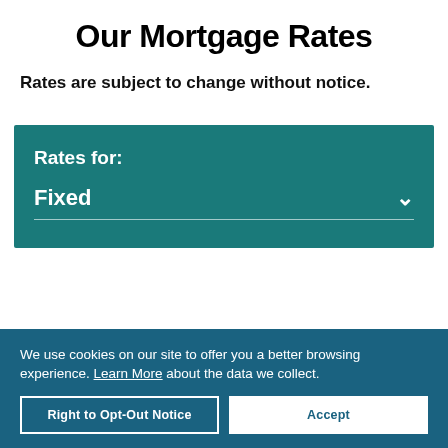Our Mortgage Rates
Rates are subject to change without notice.
Rates for: Fixed
We use cookies on our site to offer you a better browsing experience. Learn More about the data we collect.
Right to Opt-Out Notice
Accept